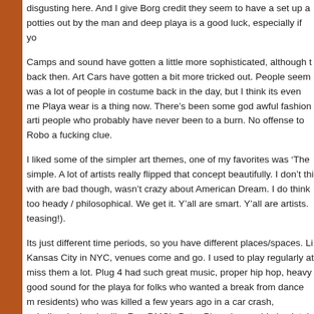disgusting here. And I give Borg credit they seem to have a set up a potties out by the man and deep playa is a good luck, especially if yo
Camps and sound have gotten a little more sophisticated, although back then. Art Cars have gotten a bit more tricked out. People seem was a lot of people in costume back in the day, but I think its even m Playa wear is a thing now. There's been some god awful fashion arti people who probably have never been to a burn. No offense to Robo a fucking clue.
I liked some of the simpler art themes, one of my favorites was 'The simple. A lot of artists really flipped that concept beautifully. I don't th with are bad though, wasn't crazy about American Dream. I do think too heady / philosophical. We get it. Y'all are smart. Y'all are artists. teasing!).
Its just different time periods, so you have different places/spaces. Li Kansas City in NYC, venues come and go. I used to play regularly at miss them a lot. Plug 4 had such great music, proper hip hop, heavy good sound for the playa for folks who wanted a break from dance m residents) who was killed a few years ago in a car crash, unbelievab classics like Run DMC's Peter Piper, he would absolutely destroy it... (not to be confused with Arctica, the ice people) was a long refrigera